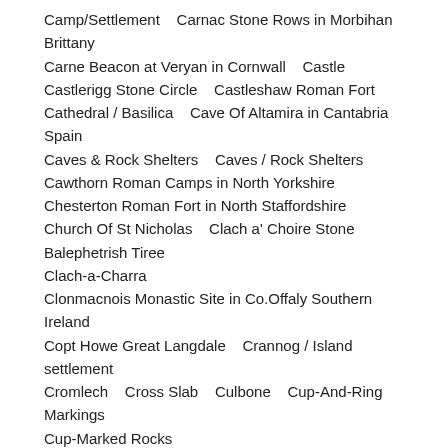Camp/Settlement    Carnac Stone Rows in Morbihan Brittany
Carne Beacon at Veryan in Cornwall    Castle
Castlerigg Stone Circle    Castleshaw Roman Fort
Cathedral / Basilica    Cave Of Altamira in Cantabria Spain
Caves & Rock Shelters    Caves / Rock Shelters
Cawthorn Roman Camps in North Yorkshire
Chesterton Roman Fort in North Staffordshire
Church Of St Nicholas    Clach a' Choire Stone Balephetrish Tiree
Clach-a-Charra
Clonmacnois Monastic Site in Co.Offaly Southern Ireland
Copt Howe Great Langdale    Crannog / Island settlement
Cromlech    Cross Slab    Culbone    Cup-And-Ring Markings
Cup-Marked Rocks
Delf Hill Stone Circle on Extwistle Moor near Burnley
Devils Arrows    Dolaucothi Roman Mines Pumsaint    Dolmen
Dolmen De La Cous near Bazoges-en-Pareds in France
Dolmen De La Frebouchere At Le Bernard Pays De La Loire In France
Dolmen De La Pierres Folle At Commequiers In France